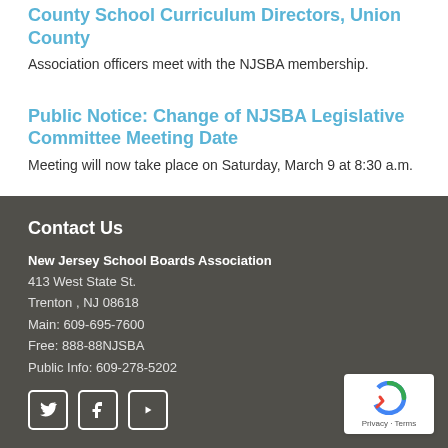County School Curriculum Directors, Union County
Association officers meet with the NJSBA membership.
Public Notice: Change of NJSBA Legislative Committee Meeting Date
Meeting will now take place on Saturday, March 9 at 8:30 a.m.
Contact Us
New Jersey School Boards Association
413 West State St.
Trenton , NJ 08618
Main: 609-695-7600
Free: 888-88NJSBA
Public Info: 609-278-5202
[Figure (logo): Social media icons: Twitter, Facebook, YouTube]